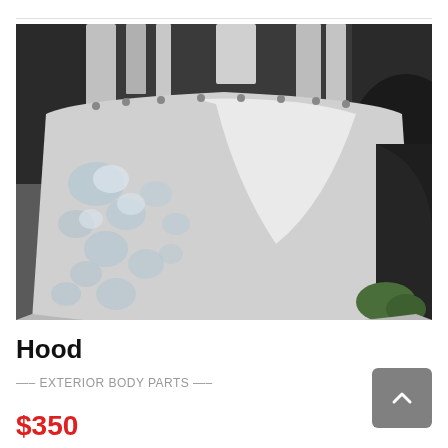[Figure (photo): Photograph of a white vehicle hood (car bonnet) laid flat outdoors, with tree shadows and dappled light visible on the surface. Other vehicle parts are visible in the background.]
Hood
—– EXTERIOR BODY PARTS —–
$350